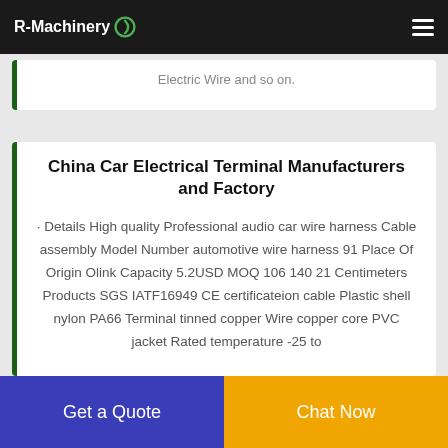R-Machinery
Electric Wire and so on.
China Car Electrical Terminal Manufacturers and Factory
· Details High quality Professional audio car wire harness Cable assembly Model Number automotive wire harness 91 Place Of Origin Olink Capacity 5.2USD MOQ 106 140 21 Centimeters Products SGS IATF16949 CE certificateion cable Plastic shell nylon PA66 Terminal tinned copper Wire copper core PVC jacket Rated temperature -25 to
Get a Quote
Chat Now